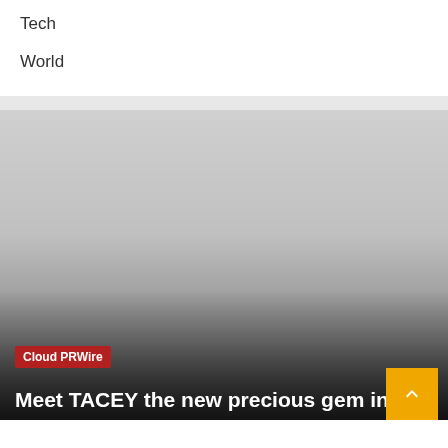Tech
World
[Figure (photo): Large image with gradient overlay, light gray to dark gray from top to bottom, representing a news article hero image]
Cloud PRWire
Meet TACEY the new precious gem in the la...